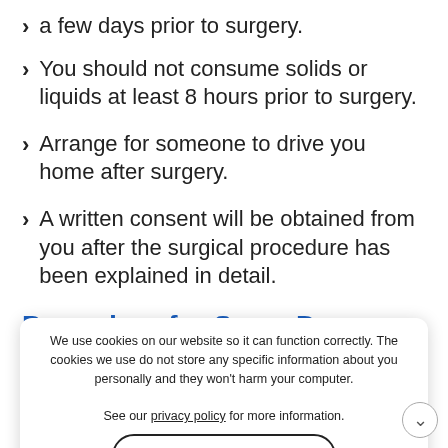a few days prior to surgery.
You should not consume solids or liquids at least 8 hours prior to surgery.
Arrange for someone to drive you home after surgery.
A written consent will be obtained from you after the surgical procedure has been explained in detail.
Procedure for Same Day Shoulder Surgery
Based on the shoulder condition affecting the patient, several types of shoulder surgeries can be performed as same-day shoulder surgery. The surgeries are performed under general or local anesthesia arthroscopically in which tiny incisions (portals), about a half-inch in length, are made around the joint area.
We use cookies on our website so it can function correctly. The cookies we use do not store any specific information about you personally and they won't harm your computer.

See our privacy policy for more information.